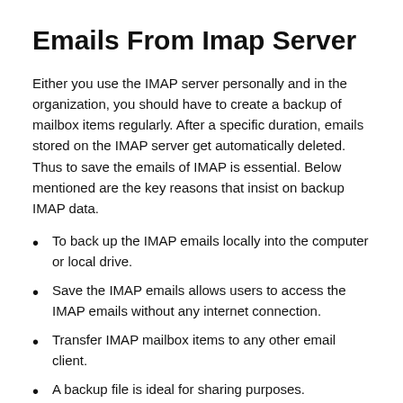Emails From Imap Server
Either you use the IMAP server personally and in the organization, you should have to create a backup of mailbox items regularly. After a specific duration, emails stored on the IMAP server get automatically deleted. Thus to save the emails of IMAP is essential. Below mentioned are the key reasons that insist on backup IMAP data.
To back up the IMAP emails locally into the computer or local drive.
Save the IMAP emails allows users to access the IMAP emails without any internet connection.
Transfer IMAP mailbox items to any other email client.
A backup file is ideal for sharing purposes.
Protect IMAP server from unnecessary threats and